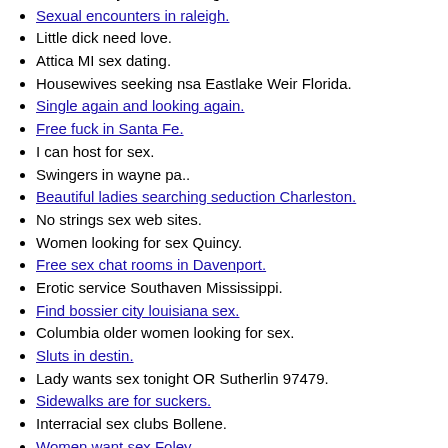Jefferson city TN sex dating.
Sexual encounters in raleigh.
Little dick need love.
Attica MI sex dating.
Housewives seeking nsa Eastlake Weir Florida.
Single again and looking again.
Free fuck in Santa Fe.
I can host for sex.
Swingers in wayne pa..
Beautiful ladies searching seduction Charleston.
No strings sex web sites.
Women looking for sex Quincy.
Free sex chat rooms in Davenport.
Erotic service Southaven Mississippi.
Find bossier city louisiana sex.
Columbia older women looking for sex.
Sluts in destin.
Lady wants sex tonight OR Sutherlin 97479.
Sidewalks are for suckers.
Interracial sex clubs Bollene.
Women want sex Foley.
Wife wants sex Crestview.
Wives want sex Hale.
Free Clearwater Kansas fuck buddy.
Sex dates in Detroit MI.
Looking for someone who wants a fuck.